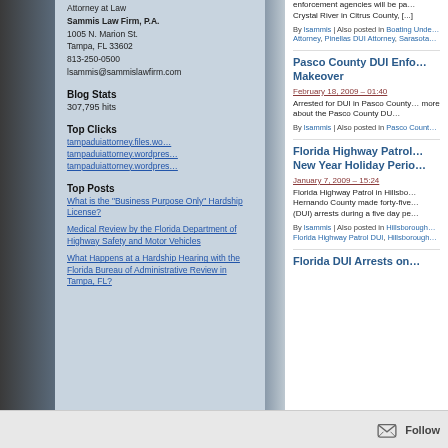Attorney at Law
Sammis Law Firm, P.A.
1005 N. Marion St.
Tampa, FL 33602
813-250-0500
lsammis@sammislawfirm.com
Blog Stats
307,795 hits
Top Clicks
tampaduiattorney.files.wo…
tampaduiattorney.wordpres…
tampaduiattorney.wordpres…
Top Posts
What is the "Business Purpose Only" Hardship License?
Medical Review by the Florida Department of Highway Safety and Motor Vehicles
What Happens at a Hardship Hearing with the Florida Bureau of Administrative Review in Tampa, FL?
enforcement agencies will be pa... Crystal River in Citrus County, [...]
By lsammis | Also posted in Boating Under... Attorney, Pinellas DUI Attorney, Sarasota...
Pasco County DUI Enfo... Makeover
February 18, 2009 – 01:40
Arrested for DUI in Pasco County... more about the Pasco County DU...
By lsammis | Also posted in Pasco Count...
Florida Highway Patrol... New Year Holiday Perio...
January 7, 2009 – 15:24
Florida Highway Patrol in Hillsbo... Hernando County made forty-five... (DUI) arrests during a five day pe...
By lsammis | Also posted in Hillsborough... Florida Highway Patrol DUI, Hillsborough...
Florida DUI Arrests on...
Follow